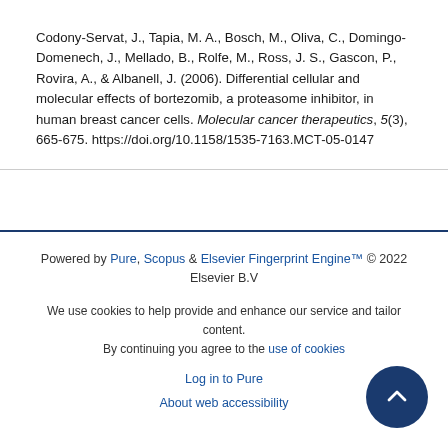Codony-Servat, J., Tapia, M. A., Bosch, M., Oliva, C., Domingo-Domenech, J., Mellado, B., Rolfe, M., Ross, J. S., Gascon, P., Rovira, A., & Albanell, J. (2006). Differential cellular and molecular effects of bortezomib, a proteasome inhibitor, in human breast cancer cells. Molecular cancer therapeutics, 5(3), 665-675. https://doi.org/10.1158/1535-7163.MCT-05-0147
Powered by Pure, Scopus & Elsevier Fingerprint Engine™ © 2022 Elsevier B.V
We use cookies to help provide and enhance our service and tailor content. By continuing you agree to the use of cookies
Log in to Pure
About web accessibility
Contact